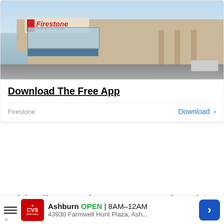[Figure (screenshot): Firestone Complete Auto Care store front photo with 'Download The Free App' ad card, showing 'Firestone' brand label and 'Download >' button]
This disease is more prevalent in hot and humid climates. If you are experiencing a humid period, think twice before watering your plant as it may not be needed. You can use a broad spectrum fungicide to control leaf spot. The best way to prevent this disease is by d...
[Figure (screenshot): CVS Pharmacy bottom banner ad: Ashburn OPEN 8AM-12AM, 43930 Farmwell Hunt Plaza, Ash... with navigation arrow button]